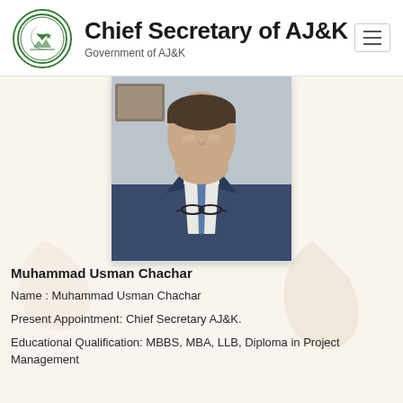Chief Secretary of AJ&K — Government of AJ&K
[Figure (photo): Photo of Muhammad Usman Chachar, a man in a navy blue suit and blue tie, holding glasses, photographed from chest up.]
Muhammad Usman Chachar
Name : Muhammad Usman Chachar
Present Appointment: Chief Secretary AJ&K.
Educational Qualification: MBBS, MBA, LLB, Diploma in Project Management